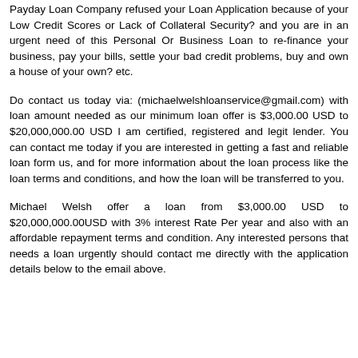Payday Loan Company refused your Loan Application because of your Low Credit Scores or Lack of Collateral Security? and you are in an urgent need of this Personal Or Business Loan to re-finance your business, pay your bills, settle your bad credit problems, buy and own a house of your own? etc.
Do contact us today via: (michaelwelshloanservice@gmail.com) with loan amount needed as our minimum loan offer is $3,000.00 USD to $20,000,000.00 USD I am certified, registered and legit lender. You can contact me today if you are interested in getting a fast and reliable loan form us, and for more information about the loan process like the loan terms and conditions, and how the loan will be transferred to you.
Michael Welsh offer a loan from $3,000.00 USD to $20,000,000.00USD with 3% interest Rate Per year and also with an affordable repayment terms and condition. Any interested persons that needs a loan urgently should contact me directly with the application details below to the email above.